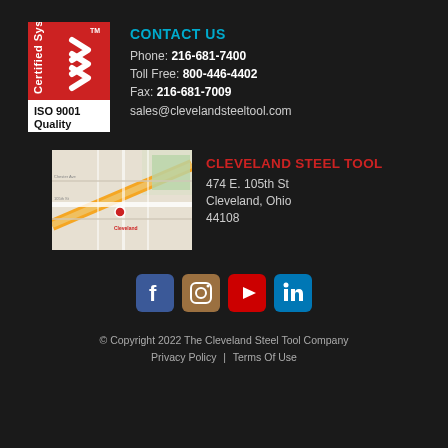[Figure (logo): ISO 9001 Quality Certified System badge with red background and white chevron marks]
CONTACT US
Phone: 216-681-7400
Toll Free: 800-446-4402
Fax: 216-681-7009
sales@clevelandsteeltool.com
[Figure (map): Google Maps screenshot showing location of Cleveland Steel Tool at 474 E. 105th St, Cleveland, Ohio 44108]
CLEVELAND STEEL TOOL
474 E. 105th St
Cleveland, Ohio
44108
[Figure (other): Social media icons row: Facebook, Instagram, YouTube, LinkedIn]
© Copyright 2022 The Cleveland Steel Tool Company
Privacy Policy | Terms Of Use